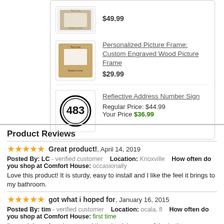[Figure (photo): Product thumbnail: Personalized Picture Frame Custom Engraved Wood Picture Frame, price $29.99]
Personalized Picture Frame: Custom Engraved Wood Picture Frame
$29.99
[Figure (photo): Product thumbnail: Reflective Address Number Sign showing 483]
Reflective Address Number Sign
Regular Price: $44.99
Your Price $36.99
Product Reviews
Great product!, April 14, 2019
Posted By: LC - verified customer   Location: Knoxville   How often do you shop at Comfort House: occasionally
Love this product! It is sturdy, easy to install and I like the feel it brings to my bathroom.
got what i hoped for, January 16, 2015
Posted By: tim - verified customer   Location: ocala, fl   How often do you shop at Comfort House: first time
I'm re-doing a foreclosure and thought giving one of the bathrooms a "hotel"